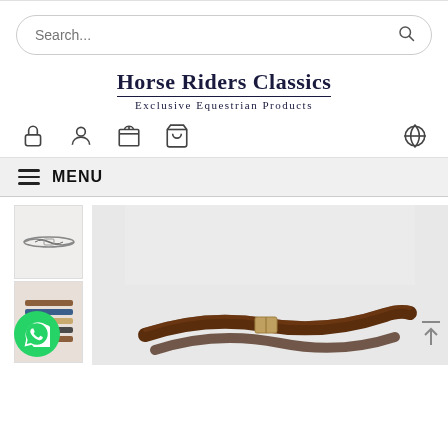[Figure (screenshot): Search bar with placeholder text 'Search...' and magnifying glass icon]
Horse Riders Classics
Exclusive Equestrian Products
[Figure (other): Navigation icons: lock, person, gift/calendar, shopping cart, globe]
MENU
[Figure (photo): Product page showing equestrian leather straps/reins. Left column has two thumbnail images; main area shows a large product image of dark brown leather strap/rein. WhatsApp chat button visible bottom left. Back-to-top arrow bottom right.]